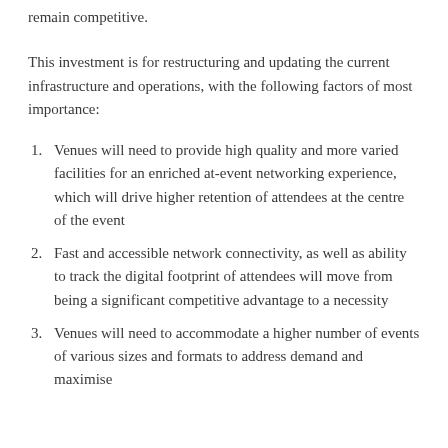remain competitive.
This investment is for restructuring and updating the current infrastructure and operations, with the following factors of most importance:
Venues will need to provide high quality and more varied facilities for an enriched at-event networking experience, which will drive higher retention of attendees at the centre of the event
Fast and accessible network connectivity, as well as ability to track the digital footprint of attendees will move from being a significant competitive advantage to a necessity
Venues will need to accommodate a higher number of events of various sizes and formats to address demand and maximise